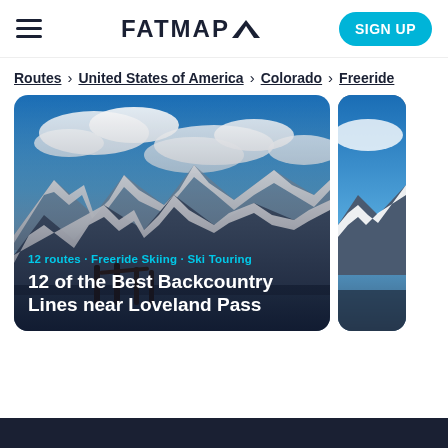FATMAP▲
Routes > United States of America > Colorado > Freeride
[Figure (photo): Mountain landscape with snow-covered peaks under a blue sky with clouds. Foreground shows ski poles or fence posts. Card overlay shows route category and title.]
12 routes · Freeride Skiing · Ski Touring
12 of the Best Backcountry Lines near Loveland Pass